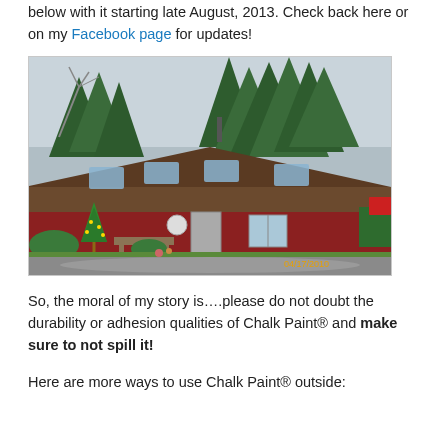below with it starting late August, 2013. Check back here or on my Facebook page for updates!
[Figure (photo): Exterior photo of a red barn-style house with a dark roof featuring skylights, surrounded by trees, green lawn in front, gravel driveway, with a timestamp 04/17/2010 in the bottom right corner.]
So, the moral of my story is….please do not doubt the durability or adhesion qualities of Chalk Paint® and make sure to not spill it!
Here are more ways to use Chalk Paint® outside: